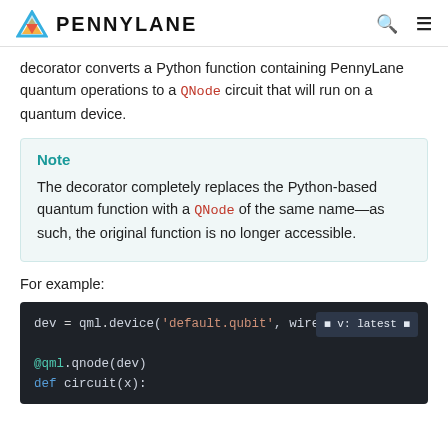PENNYLANE
decorator converts a Python function containing PennyLane quantum operations to a QNode circuit that will run on a quantum device.
Note
The decorator completely replaces the Python-based quantum function with a QNode of the same name—as such, the original function is no longer accessible.
For example:
[Figure (screenshot): Code block showing: dev = qml.device('default.qubit', wires=2) followed by @qml.qnode(dev) and def circuit(x):]